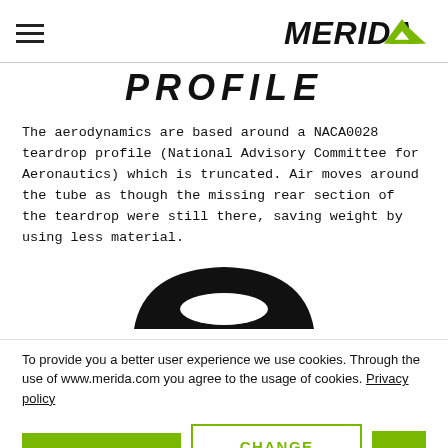MERIDA
PROFILE
The aerodynamics are based around a NACA0028 teardrop profile (National Advisory Committee for Aeronautics) which is truncated. Air moves around the tube as though the missing rear section of the teardrop were still there, saving weight by using less material.
[Figure (illustration): Black silhouette of a truncated NACA teardrop aerodynamic tube cross-section profile shape]
To provide you a better user experience we use cookies. Through the use of www.merida.com you agree to the usage of cookies. Privacy policy